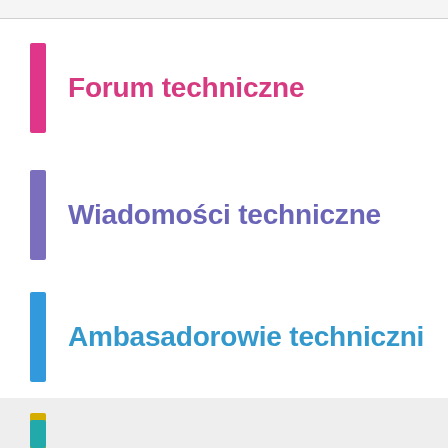Forum techniczne
Wiadomości techniczne
Ambasadorowie techniczni
Technologia Wikimedia